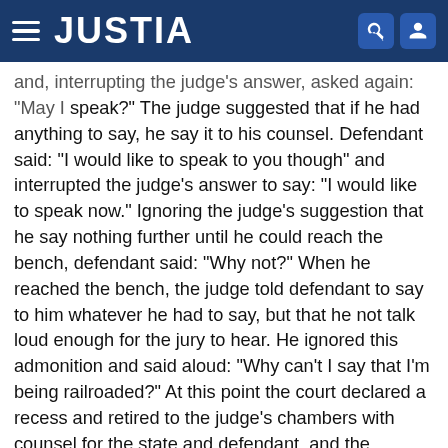JUSTIA
and, interrupting the judge's answer, asked again: "May I speak?" The judge suggested that if he had anything to say, he say it to his counsel. Defendant said: "I would like to speak to you though" and interrupted the judge's answer to say: "I would like to speak now." Ignoring the judge's suggestion that he say nothing further until he could reach the bench, defendant said: "Why not?" When he reached the bench, the judge told defendant to say to him whatever he had to say, but that he not talk loud enough for the jury to hear. He ignored this admonition and said aloud: "Why can't I say that I'm being railroaded?" At this point the court declared a recess and retired to the judge's chambers with counsel for the state and defendant, and the defendant. There he was asked and permitted to state what it was he wanted to tell the court. He appeared to have said all that he intended. Briefly, his remarks consisted of a complaint